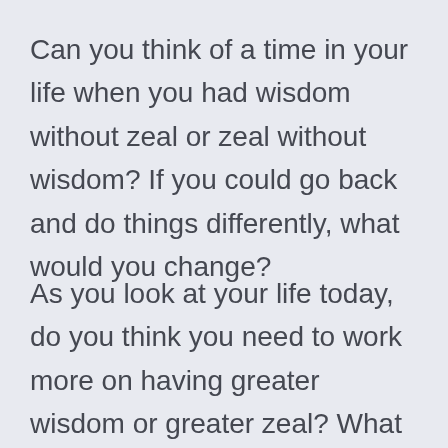Can you think of a time in your life when you had wisdom without zeal or zeal without wisdom? If you could go back and do things differently, what would you change?
As you look at your life today, do you think you need to work more on having greater wisdom or greater zeal? What can you do to increase one or the